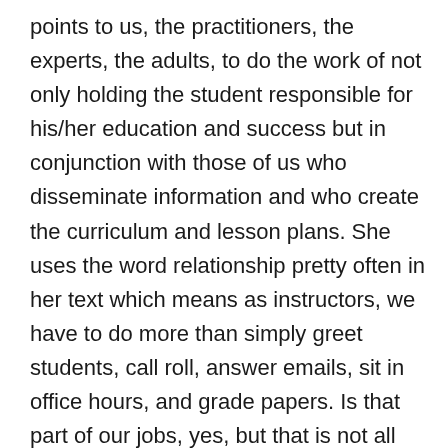points to us, the practitioners, the experts, the adults, to do the work of not only holding the student responsible for his/her education and success but in conjunction with those of us who disseminate information and who create the curriculum and lesson plans. She uses the word relationship pretty often in her text which means as instructors, we have to do more than simply greet students, call roll, answer emails, sit in office hours, and grade papers. Is that part of our jobs, yes, but that is not all that we should be doing. We need to see our students as people who need our guidance, understanding, and sometimes, dare I say, mercy. Our students are not just numbers on a roster or a misplaced